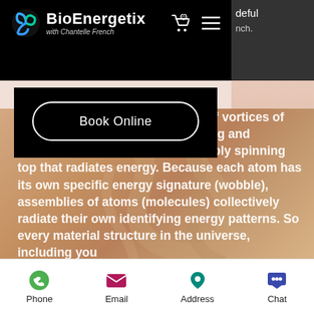BioEnergetix with Chantelle French
Book Online
hat physical atoms are made up of vortices of energy that are constantly spinning and vibrating; each atom is like a wobbly spinning top that radiates energy. Because each atom has its own specific energy signature (wobble), assemblies of atoms (molecules) collectively radiate their own identifying energy patterns. So every material structure in the universe, including you
Phone  Email  Address  Chat